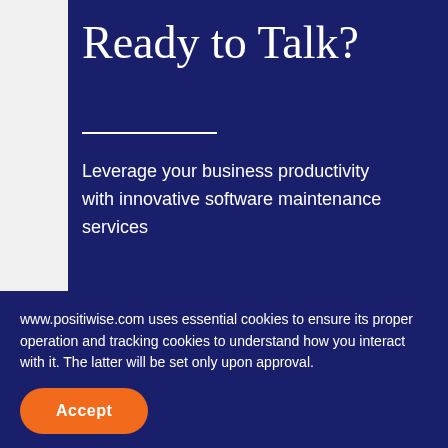Ready to Talk?
Leverage your business productivity with innovative software maintenance services
Hire Dedicated Developers
www.positiwise.com uses essential cookies to ensure its proper operation and tracking cookies to understand how you interact with it. The latter will be set only upon approval.
Accept